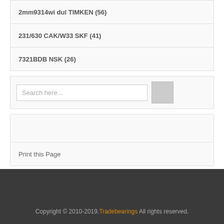2mm9314wi dul TIMKEN (56)
231/630 CAK/W33 SKF (41)
7321BDB NSK (26)
Search here...
Print this Page
Copyright © 2010-2019. Tradebearings All rights reserved.